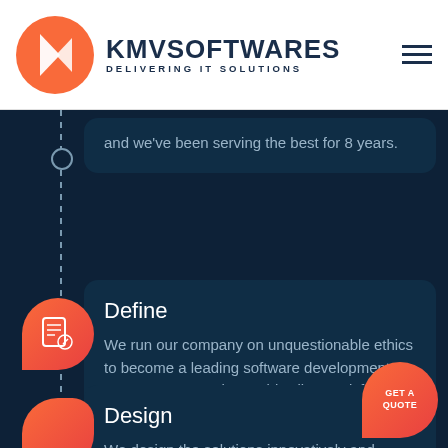[Figure (logo): KMV Softwares logo: orange-red circle with white K arrow icon]
KMVSOFTWARES DELIVERING IT SOLUTIONS
and we've been serving the best for 8 years.
Define
We run our company on unquestionable ethics to become a leading software development company across the world. Client satisfaction and business objectives are our prime focus.
Design
We design the solutions innovatively and